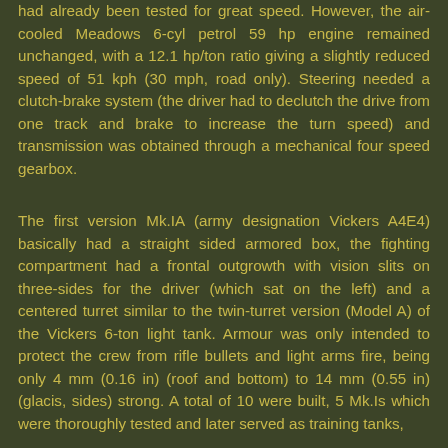had already been tested for great speed. However, the air-cooled Meadows 6-cyl petrol 59 hp engine remained unchanged, with a 12.1 hp/ton ratio giving a slightly reduced speed of 51 kph (30 mph, road only). Steering needed a clutch-brake system (the driver had to declutch the drive from one track and brake to increase the turn speed) and transmission was obtained through a mechanical four speed gearbox.
The first version Mk.IA (army designation Vickers A4E4) basically had a straight sided armored box, the fighting compartment had a frontal outgrowth with vision slits on three-sides for the driver (which sat on the left) and a centered turret similar to the twin-turret version (Model A) of the Vickers 6-ton light tank. Armour was only intended to protect the crew from rifle bullets and light arms fire, being only 4 mm (0.16 in) (roof and bottom) to 14 mm (0.55 in) (glacis, sides) strong. A total of 10 were built, 5 Mk.Is which were thoroughly tested and later served as training tanks, and 5 Mk.IAs, the rarer version, which differed hi